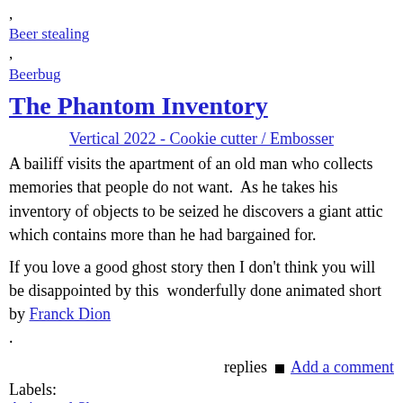,
Beer stealing
,
Beerbug
The Phantom Inventory
Vertical 2022 - Cookie cutter / Embosser
A bailiff visits the apartment of an old man who collects memories that people do not want.  As he takes his inventory of objects to be seized he discovers a giant attic which contains more than he had bargained for.
If you love a good ghost story then I don't think you will be disappointed by this  wonderfully done animated short by Franck Dion .
replies ■ Add a comment
Labels:
Animated Short
,
Animation
,
court metrage